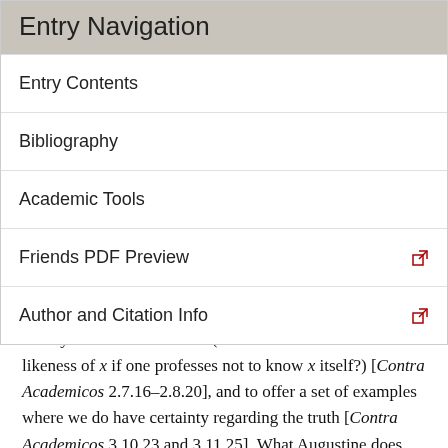Entry Navigation
Entry Contents
Bibliography
Academic Tools
Friends PDF Preview
Author and Citation Info
to show that there are problems in the skeptic's claim to live by the likeness of truth (how can one know the likeness of x if one professes not to know x itself?) [Contra Academicos 2.7.16–2.8.20], and to offer a set of examples where we do have certainty regarding the truth [Contra Academicos 3.10.23 and 3.11.25]. What Augustine does not do is to engage in any kind of foundationalist construction of basic beliefs, nor does he attempt any kind of systematic defense of our ordinary epistemic practices so as to vindicate them in the face of skeptical attack. Even when he offers his version of what later becomes known as the Cartesian cogito [e.g., De